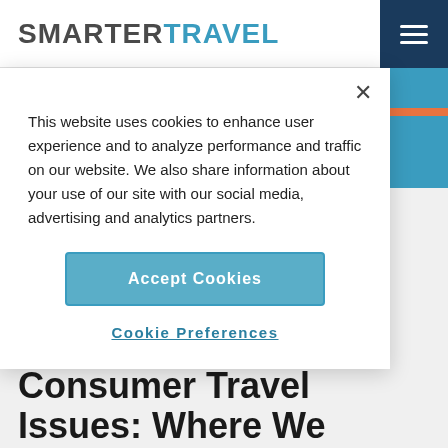SMARTER TRAVEL
This website uses cookies to enhance user experience and to analyze performance and traffic on our website. We also share information about your use of our site with our social media, advertising and analytics partners.
Accept Cookies
Cookie Preferences
AIRFARE DEALS Nov 10, 2014
Consumer Travel Issues: Where We Stand